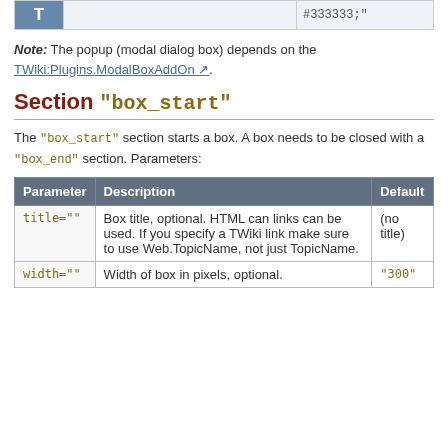|  |  | #333333;" |
| --- | --- | --- |
| T |  | #333333;" |
Note: The popup (modal dialog box) depends on the TWiki:Plugins.ModalBoxAddOn.
Section "box_start"
The "box_start" section starts a box. A box needs to be closed with a "box_end" section. Parameters:
| Parameter | Description | Default |
| --- | --- | --- |
| title="" | Box title, optional. HTML can links can be used. If you specify a TWiki link make sure to use Web.TopicName, not just TopicName. | (no title) |
| width="" | Width of box in pixels, optional. | "300" |